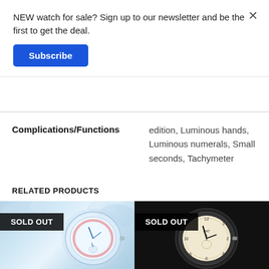NEW watch for sale? Sign up to our newsletter and be the first to get the deal.
Subscribe
| Complications/Functions |  |
| --- | --- |
| Complications/Functions | edition, Luminous hands, Luminous numerals, Small seconds, Tachymeter |
RELATED PRODUCTS
[Figure (photo): Watch face with blue hands on a light dial with pink tachymeter ring. SOLD OUT badge overlay.]
[Figure (photo): Vintage watch with cream dial on black background. SOLD OUT badge overlay.]